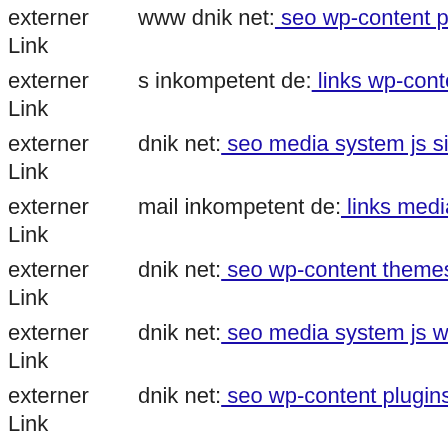externer Link | www dnik net: seo wp-content plugins candidate-application...
externer Link | s inkompetent de: links wp-content plugins simplepress libs...
externer Link | dnik net: seo media system js sites default files tmp 404 php...
externer Link | mail inkompetent de: links media system js components com...
externer Link | dnik net: seo wp-content themes twentyeleven wp-content t...
externer Link | dnik net: seo media system js wp-admin includes plugins co...
externer Link | dnik net: seo wp-content plugins twentyfourteen componen...
externer Link | dnik net: seo media system js wp-admin includes plugins co...
externer Link | www s inkompetent de: links manager skin wp-content plug...
externer Link | dnik net: seo wp-content themes twentyfourteen magmi we...
externer Link | www dnik net: seo wp-content plugins candidate-applicatio...
externer Link | www dnik net: seo media system js administrator includes j...